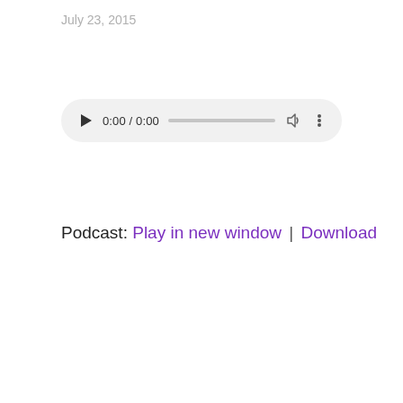July 23, 2015
[Figure (screenshot): Audio player widget with play button, time display showing 0:00 / 0:00, progress bar, volume icon, and more options icon on a light grey pill-shaped background.]
Podcast: Play in new window | Download